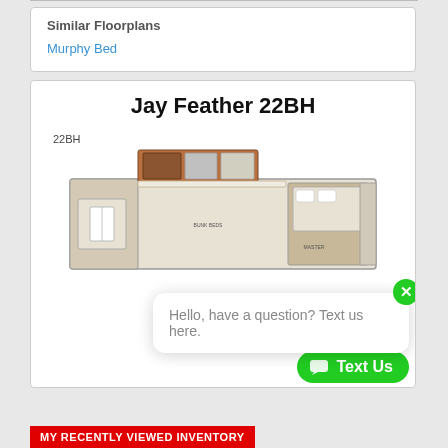Similar Floorplans
Murphy Bed
Jay Feather 22BH
22BH
[Figure (illustration): Floor plan diagram of the Jay Feather 22BH RV layout, showing interior rooms and furnishings from a top-down view]
Hello, have a question? Text us here.
MY RECENTLY VIEWED INVENTORY